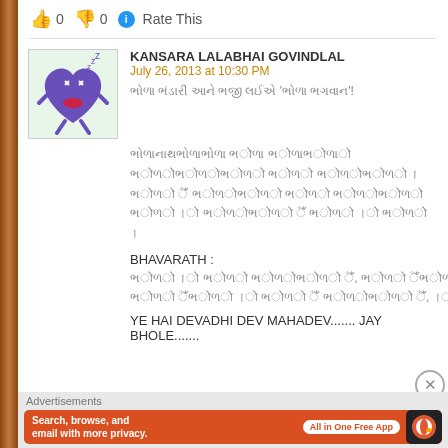👍 0 👎 0 ℹ Rate This
KANSARA LALABHAI GOVINDLAL
July 26, 2013 at 10:30 PM
Gujarati script text
BHAVARATH :
Gujarati bhavarath text
YE HAI DEVADHI DEV MAHADEV....... JAY BHOLE.......
[Figure (illustration): Cartoon purple heart character with arms, legs, and grumpy face]
Advertisements
Search, browse, and email with more privacy. All in One Free App — DuckDuckGo